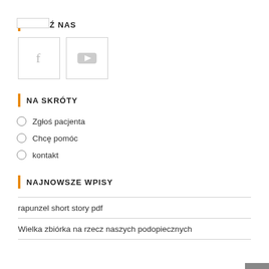ŚLEDŹ NAS
[Figure (illustration): Two social media icon boxes: Facebook (f icon) and YouTube (play button icon)]
NA SKRÓTY
Zgłoś pacjenta
Chcę pomóc
kontakt
NAJNOWSZE WPISY
rapunzel short story pdf
Wielka zbiórka na rzecz naszych podopiecznych